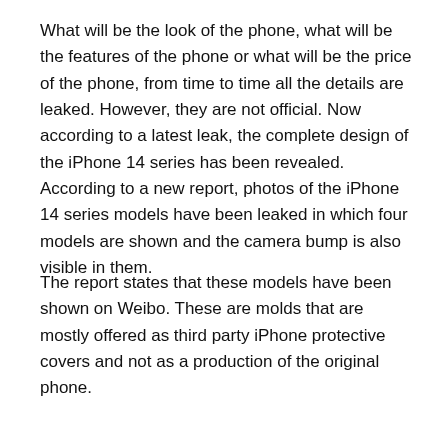What will be the look of the phone, what will be the features of the phone or what will be the price of the phone, from time to time all the details are leaked. However, they are not official. Now according to a latest leak, the complete design of the iPhone 14 series has been revealed. According to a new report, photos of the iPhone 14 series models have been leaked in which four models are shown and the camera bump is also visible in them.
The report states that these models have been shown on Weibo. These are molds that are mostly offered as third party iPhone protective covers and not as a production of the original phone.